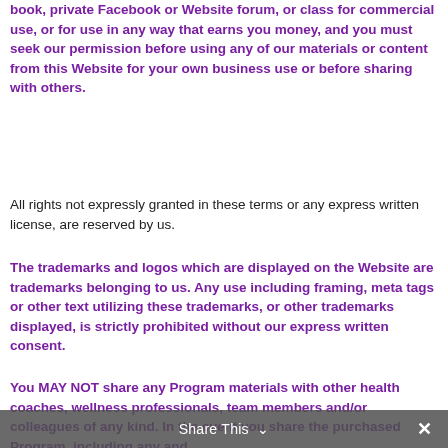book, private Facebook or Website forum, or class for commercial use, or for use in any way that earns you money, and you must seek our permission before using any of our materials or content from this Website for your own business use or before sharing with others.
All rights not expressly granted in these terms or any express written license, are reserved by us.
The trademarks and logos which are displayed on the Website are trademarks belonging to us. Any use including framing, meta tags or other text utilizing these trademarks, or other trademarks displayed, is strictly prohibited without our express written consent.
You MAY NOT share any Program materials with other health coaches, wellness professionals, team members and/or colleagues of any kind. In the event you share the purchased Program, including any and
Share This ∨  ×